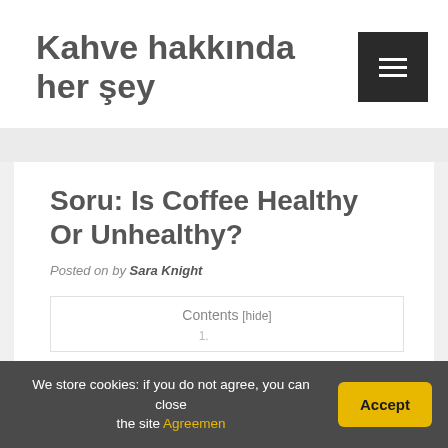Kahve hakkında her şey
Soru: Is Coffee Healthy Or Unhealthy?
Posted on by Sara Knight
Contents [hide]
We store cookies: if you do not agree, you can close the site Agreemen